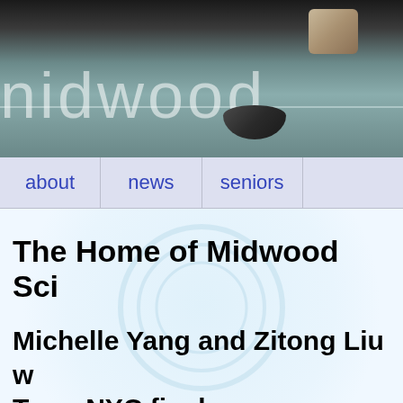[Figure (photo): Header banner photo showing 'midwood' text in white on a blurred glass/surface background, with stone/ceramic objects in the upper right corner]
about
news
seniors
The Home of Midwood Sci
Michelle Yang and Zitong Liu w Terra NYC finals